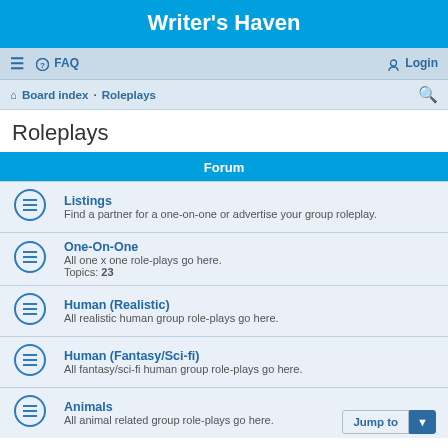Writer's Haven
≡  FAQ   Login
Board index · Roleplays
Roleplays
| Forum |
| --- |
| Listings | Find a partner for a one-on-one or advertise your group roleplay. |
| One-On-One | All one x one role-plays go here. | Topics: 23 |
| Human (Realistic) | All realistic human group role-plays go here. |
| Human (Fantasy/Sci-fi) | All fantasy/sci-fi human group role-plays go here. |
| Animals | All animal related group role-plays go here. |